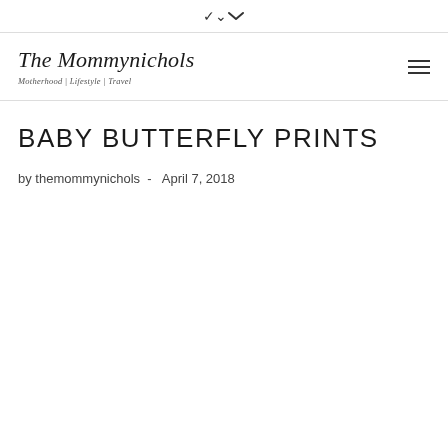▾
[Figure (logo): The Mommynichols blog logo with italic serif text and tagline 'Motherhood | Lifestyle | Travel']
BABY BUTTERFLY PRINTS
by themommynichols  -  April 7, 2018